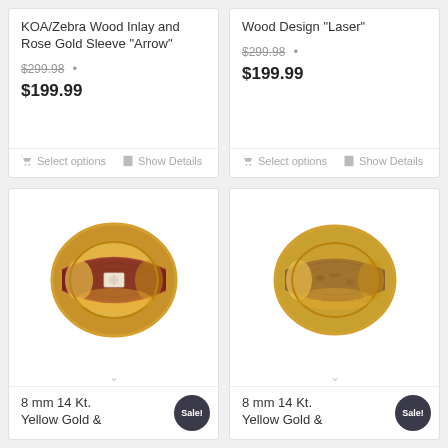KOA/Zebra Wood Inlay and Rose Gold Sleeve "Arrow"
$299.98 • $199.99
Select options  Show Details
Wood Design "Laser"
$299.98 • $199.99
Select options  Show Details
[Figure (photo): Gold ring with red/dark wood inlay and diamond center stone]
8 mm 14 Kt. Yellow Gold & Sale!
[Figure (photo): Gold ring with brown/dark textured wood inlay]
8 mm 14 Kt. Yellow Gold & Sale!